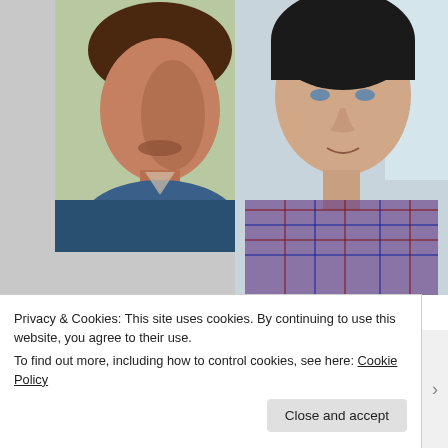[Figure (photo): Two side-by-side images: left is an oil painting portrait of a young man with reddish-brown hair on a green-toned canvas; right is a photograph of a young man with dark hair wearing a plaid shirt.]
This is the one hour painting (water mixable oils on green-toned 11 x 14 canvas), and the photo I took at the end of that sitting.
[Figure (photo): Partial view of a sketch or document with handwritten date '1/10/22' visible on the right side.]
Privacy & Cookies: This site uses cookies. By continuing to use this website, you agree to their use.
To find out more, including how to control cookies, see here: Cookie Policy
Close and accept